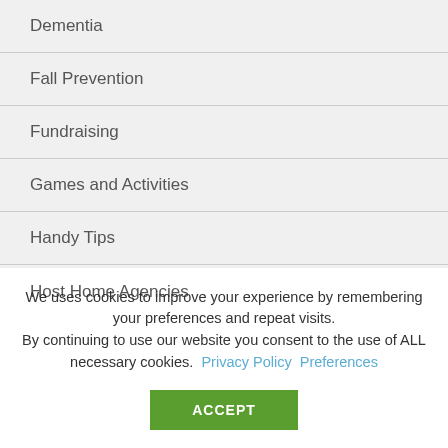Dementia
Fall Prevention
Fundraising
Games and Activities
Handy Tips
Host Home Agencies
We uses cookies to improve your experience by remembering your preferences and repeat visits. By continuing to use our website you consent to the use of ALL necessary cookies. Privacy Policy  Preferences
ACCEPT